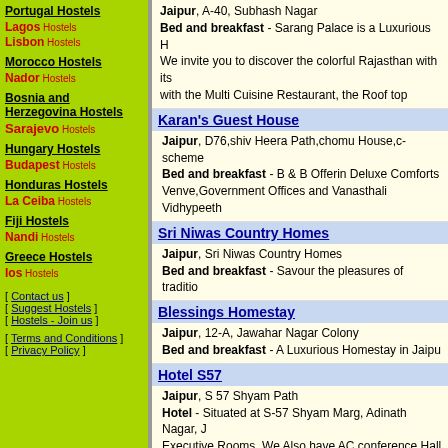Portugal Hostels
Lagos Hostels
Lisbon Hostels
Morocco Hostels
Nador Hostels
Bosnia and Herzegovina Hostels
Sarajevo Hostels
Hungary Hostels
Budapest Hostels
Honduras Hostels
La Ceiba Hostels
Fiji Hostels
Nandi Hostels
Greece Hostels
Ios Hostels
[ Contact us ]
[ Suggest Hostels ]
[ Hostels - Join us ]
[ Terms and Conditions ]
[ Privacy Policy ]
Jaipur, A-40, Subhash Nagar
Bed and breakfast - Sarang Palace is a Luxurious H...
We invite you to discover the colorful Rajasthan with its...
with the Multi Cuisine Restaurant, the Roof top
Karan's Guest House
Jaipur, D76,shiv Heera Path,chomu House,c-scheme...
Bed and breakfast - B & B Offerin Deluxe Comforts...
Venve,Government Offices and Vanasthali Vidhypeeth...
Sri Niwas Country Homes
Jaipur, Sri Niwas Country Homes
Bed and breakfast - Savour the pleasures of traditio...
Blessings Homestay
Jaipur, 12-A, Jawahar Nagar Colony
Bed and breakfast - A Luxurious Homestay in Jaipu...
Hotel S57
Jaipur, S 57 Shyam Path
Hotel - Situated at S-57 Shyam Marg, Adinath Nagar, J...
Executive Rooms, We Also have AC conference Hall wh...
proud to elaborate that we have a multi-cuisine r
The Imperial Farm Retreat
Jaipur, Village Post Boraj
Resort - Indulging in awe-inspiring surroundings of imp...
fusion of tranquil aura and lush green surroundings, The...
jaipur for